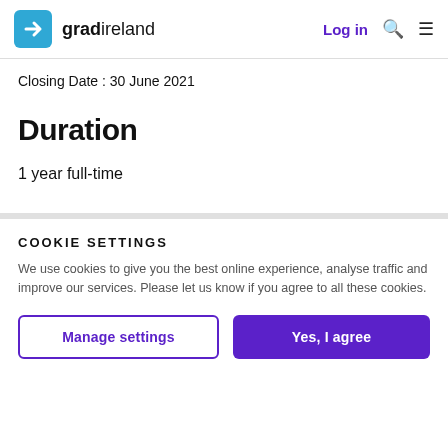gradireland | Log in
Closing Date : 30 June 2021
Duration
1 year full-time
COOKIE SETTINGS
We use cookies to give you the best online experience, analyse traffic and improve our services. Please let us know if you agree to all these cookies.
Manage settings | Yes, I agree